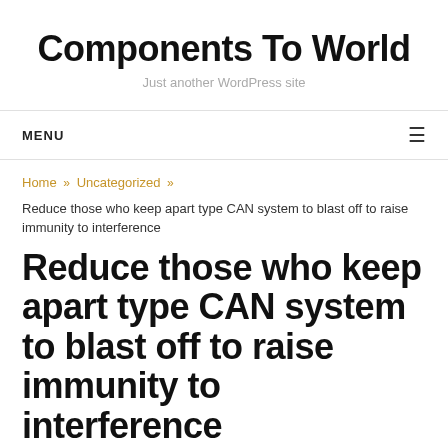Components To World
Just another WordPress site
MENU
Home » Uncategorized » Reduce those who keep apart type CAN system to blast off to raise immunity to interference
Reduce those who keep apart type CAN system to blast off to raise immunity to interference
November 25, 2018